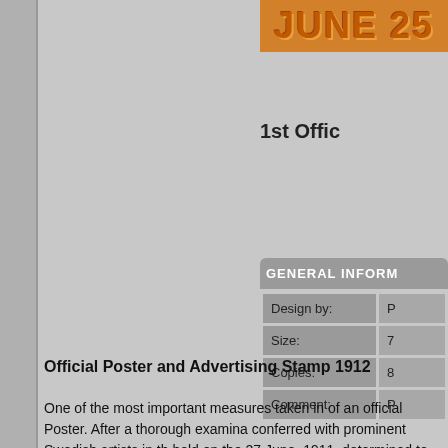[Figure (photo): Orange/tan colored stamp image showing text 'JUNE 25' or similar date]
1st Office
| GENERAL INFORM |  |
| --- | --- |
| Design by: | P |
| Size: | 7 |
| Copies: | 8 |
| Comment: | P |
Official Poster and Advertising Stamp 1912
One of the most important measures taken in of an official Poster. After a thorough examina conferred with prominent Swedish artists in th held on the 27 June, 1911, determined to acce which had been sent in to the Committee in 19